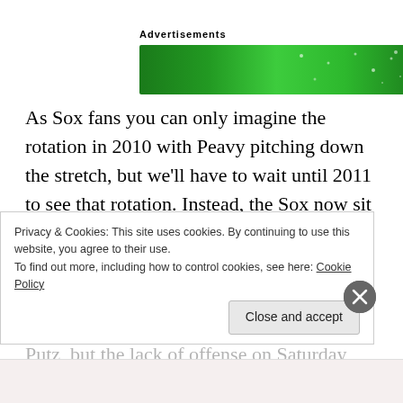Advertisements
[Figure (other): Green advertisement banner with star/sparkle decorations]
As Sox fans you can only imagine the rotation in 2010 with Peavy pitching down the stretch, but we'll have to wait until 2011 to see that rotation. Instead, the Sox now sit three games back of the Twins since J.J. Putz has had one really bad pitch in each of his last two appearances that helped the Tigers win. You can blame Putz, but the lack of offense on Saturday that had more…
Privacy & Cookies: This site uses cookies. By continuing to use this website, you agree to their use.
To find out more, including how to control cookies, see here: Cookie Policy
Close and accept